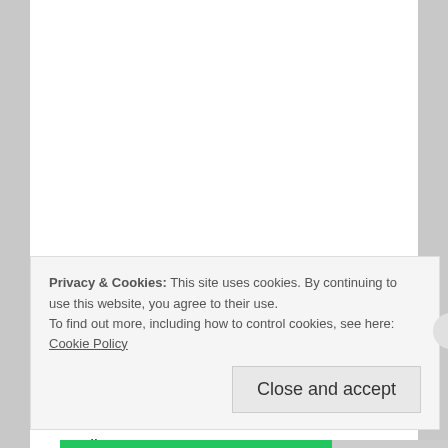[Figure (photo): Profile photo of Mark Myers showing two people standing together]
Mark Myers
March 20, 2014 at 8:55 pm
I am in the 4 girls club…wish I'd inverted in Proctor&Gamble years ago. Look forward to reading
★ Like
REPLY
Privacy & Cookies: This site uses cookies. By continuing to use this website, you agree to their use.
To find out more, including how to control cookies, see here: Cookie Policy
Close and accept